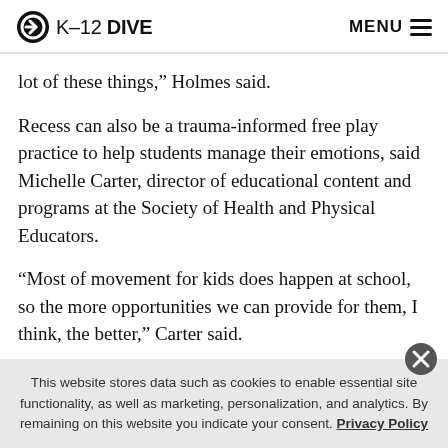K-12 DIVE  MENU
lot of these things,” Holmes said.
Recess can also be a trauma-informed free play practice to help students manage their emotions, said Michelle Carter, director of educational content and programs at the Society of Health and Physical Educators.
“Most of movement for kids does happen at school, so the more opportunities we can provide for them, I think, the better,” Carter said.
This website stores data such as cookies to enable essential site functionality, as well as marketing, personalization, and analytics. By remaining on this website you indicate your consent. Privacy Policy